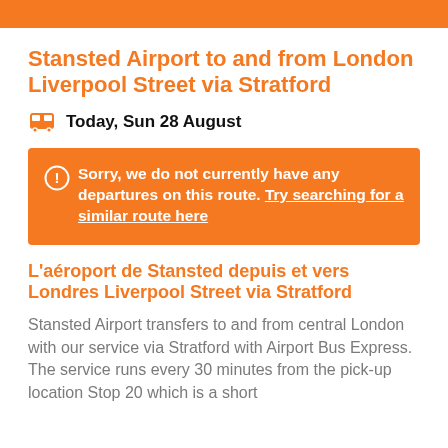Stansted Airport to and from London Liverpool Street via Stratford
Today, Sun 28 August
Sorry, we do not currently have any departures on this route. Try searching for a similar route here
L'aéroport de Stansted depuis et vers Londres Liverpool Street via Stratford
Stansted Airport transfers to and from central London with our service via Stratford with Airport Bus Express. The service runs every 30 minutes from the pick-up location Stop 20 which is a short